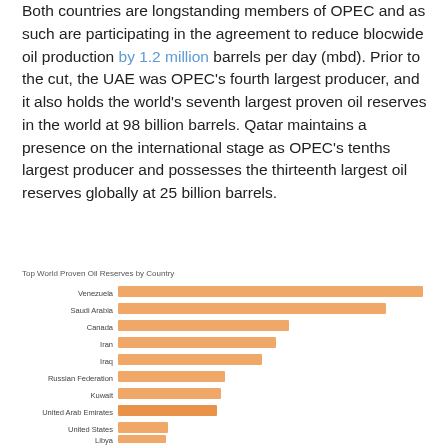Both countries are longstanding members of OPEC and as such are participating in the agreement to reduce blocwide oil production by 1.2 million barrels per day (mbd). Prior to the cut, the UAE was OPEC's fourth largest producer, and it also holds the world's seventh largest proven oil reserves in the world at 98 billion barrels. Qatar maintains a presence on the international stage as OPEC's tenths largest producer and possesses the thirteenth largest oil reserves globally at 25 billion barrels.
[Figure (bar-chart): Top World Proven Oil Reserves by Country]